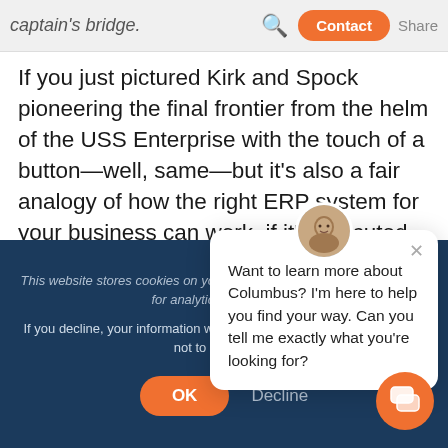as an arsenal designed for easy execution from the captain's bridge.
If you just pictured Kirk and Spock pioneering the final frontier from the helm of the USS Enterprise with the touch of a button—well, same—but it's also a fair analogy of how the right ERP system for your business can work, if it's executed the right way.
This website stores cookies on your computer, for user experience and for analytics, please see ...
If you decline, your information will not be tracked. A single cookie will be used in your browser to remember your preference not to be tracked.
[Figure (screenshot): Chat widget with avatar photo of a man. Text reads: Want to learn more about Columbus? I'm here to help you find your way. Can you tell me exactly what you're looking for?]
[Figure (screenshot): Orange OK button and Decline text button at bottom of cookie consent banner. Orange circular chat launcher button at bottom right.]